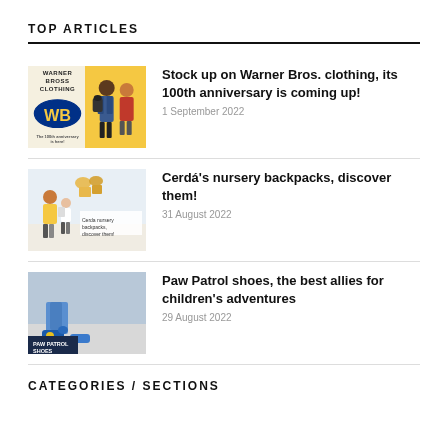TOP ARTICLES
[Figure (photo): Thumbnail image of children with Warner Bros clothing and Batman backpacks on yellow background, with text overlay 'WARNER BROSS CLOTHING']
Stock up on Warner Bros. clothing, its 100th anniversary is coming up!
1 September 2022
[Figure (photo): Thumbnail image of two young children with Cerda nursery backpacks, text overlay 'Cerda nursery backpacks, discover them!']
Cerdá's nursery backpacks, discover them!
31 August 2022
[Figure (photo): Thumbnail image of child's feet wearing Paw Patrol shoes, label 'PAW PATROL SHOES' at bottom]
Paw Patrol shoes, the best allies for children's adventures
29 August 2022
CATEGORIES / SECTIONS